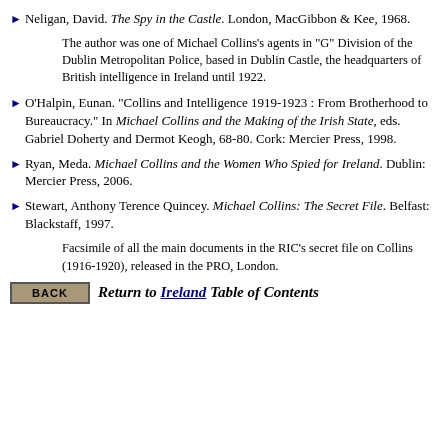Neligan, David. The Spy in the Castle. London, MacGibbon & Kee, 1968.
The author was one of Michael Collins's agents in "G" Division of the Dublin Metropolitan Police, based in Dublin Castle, the headquarters of British intelligence in Ireland until 1922.
O'Halpin, Eunan. "Collins and Intelligence 1919-1923 : From Brotherhood to Bureaucracy." In Michael Collins and the Making of the Irish State, eds. Gabriel Doherty and Dermot Keogh, 68-80. Cork: Mercier Press, 1998.
Ryan, Meda. Michael Collins and the Women Who Spied for Ireland. Dublin: Mercier Press, 2006.
Stewart, Anthony Terence Quincey. Michael Collins: The Secret File. Belfast: Blackstaff, 1997.
Facsimile of all the main documents in the RIC's secret file on Collins (1916-1920), released in the PRO, London.
Return to Ireland Table of Contents